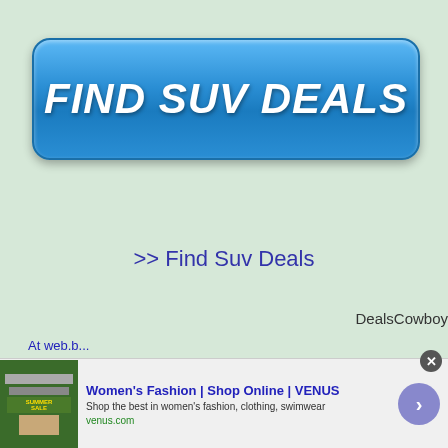[Figure (other): Large blue rounded button with white bold italic text reading FIND SUV DEALS on a light green background]
>> Find Suv Deals
DealsCowboy
Women's Fashion | Shop Online | VENUS
Shop the best in women's fashion, clothing, swimwear
venus.com